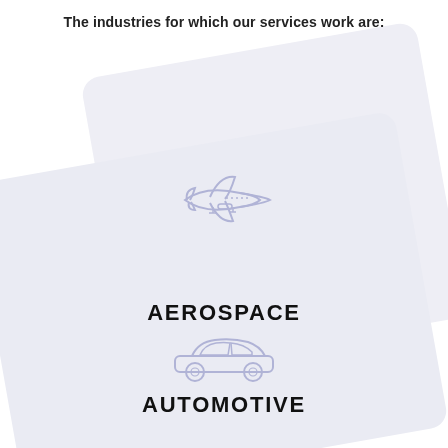The industries for which our services work are:
[Figure (illustration): Rotated light purple/lavender card with airplane icon and AEROSPACE label]
[Figure (illustration): Rotated light purple/lavender card with car icon and AUTOMOTIVE label]